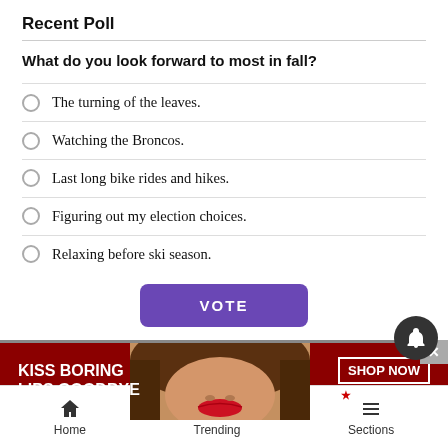Recent Poll
What do you look forward to most in fall?
The turning of the leaves.
Watching the Broncos.
Last long bike rides and hikes.
Figuring out my election choices.
Relaxing before ski season.
[Figure (other): VOTE button (purple rounded rectangle)]
[Figure (photo): Advertisement banner: KISS BORING LIPS GOODBYE - SHOP NOW - macys star logo, with woman's face showing red lips]
Home   Trending   Sections